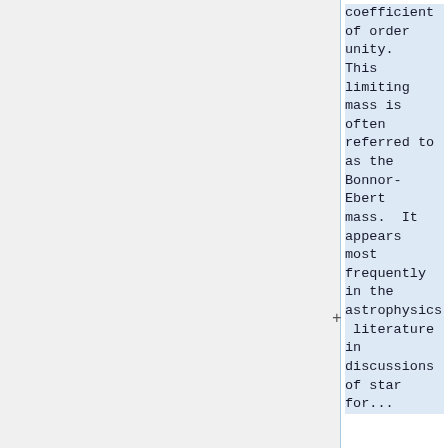coefficient of order unity. This limiting mass is often referred to as the Bonnor-Ebert mass.  It appears most frequently in the astrophysics literature in discussions of star for...